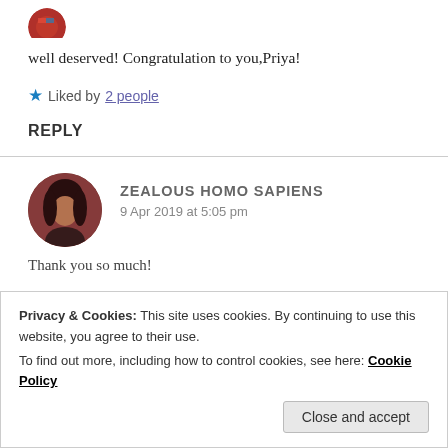[Figure (photo): Partial circular avatar image at the top of the page, showing a profile photo with red/flag colors]
well deserved! Congratulation to you,Priya!
★ Liked by 2 people
REPLY
[Figure (photo): Circular avatar showing a person with dark hair, reddish-brown toned photo]
ZEALOUS HOMO SAPIENS
9 Apr 2019 at 5:05 pm
Thank you so much!
Privacy & Cookies: This site uses cookies. By continuing to use this website, you agree to their use.
To find out more, including how to control cookies, see here: Cookie Policy